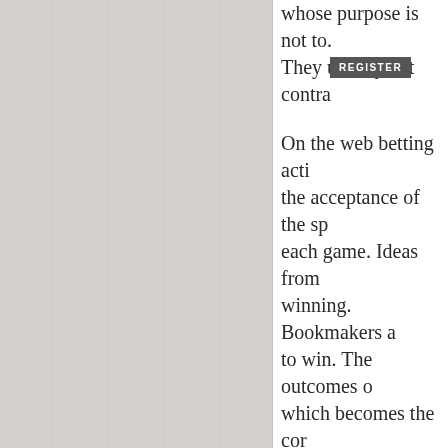whose purpose is not to. They usually bet contra
On the web betting acti the acceptance of the sp each game. Ideas from winning. Bookmakers a to win. The outcomes o which becomes the cor